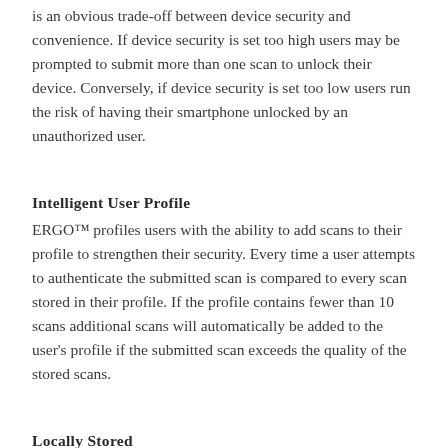is an obvious trade-off between device security and convenience. If device security is set too high users may be prompted to submit more than one scan to unlock their device. Conversely, if device security is set too low users run the risk of having their smartphone unlocked by an unauthorized user.
Intelligent User Profile
ERGO™ profiles users with the ability to add scans to their profile to strengthen their security. Every time a user attempts to authenticate the submitted scan is compared to every scan stored in their profile. If the profile contains fewer than 10 scans additional scans will automatically be added to the user's profile if the submitted scan exceeds the quality of the stored scans.
Locally Stored